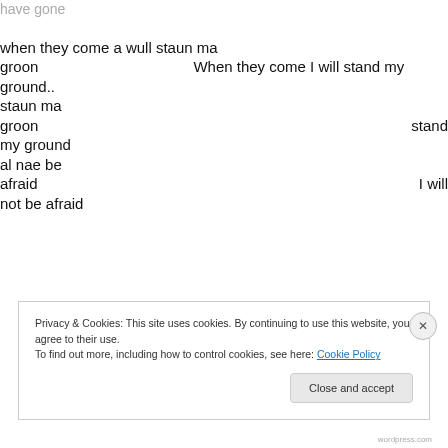have gone

when they come a wull staun ma
groon                    When they come I will stand my
ground..
staun ma
groon                                                        stand
my ground
al nae be
afraid                                                       I will
not be afraid
Privacy & Cookies: This site uses cookies. By continuing to use this website, you agree to their use.
To find out more, including how to control cookies, see here: Cookie Policy
wordpress.com